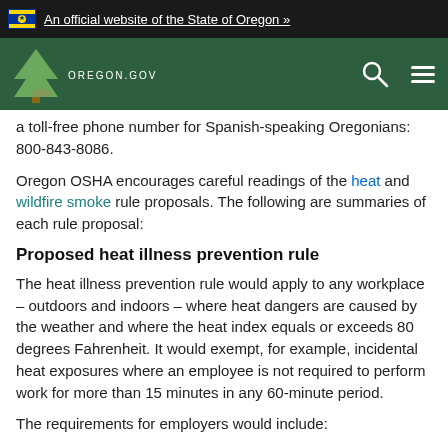An official website of the State of Oregon »
[Figure (logo): Oregon.gov logo with tree icon on green navigation bar]
a toll-free phone number for Spanish-speaking Oregonians: 800-843-8086.
Oregon OSHA encourages careful readings of the heat and wildfire smoke rule proposals. The following are summaries of each rule proposal:
Proposed heat illness prevention rule
The heat illness prevention rule would apply to any workplace – outdoors and indoors – where heat dangers are caused by the weather and where the heat index equals or exceeds 80 degrees Fahrenheit. It would exempt, for example, incidental heat exposures where an employee is not required to perform work for more than 15 minutes in any 60-minute period.
The requirements for employers would include: